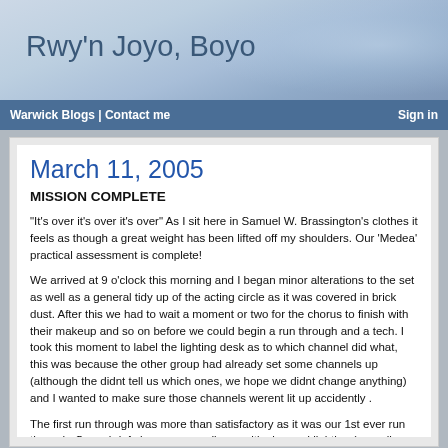Rwy'n Joyo, Boyo
Warwick Blogs | Contact me    Sign in
March 11, 2005
MISSION COMPLETE
"It's over it's over it's over" As I sit here in Samuel W. Brassington's clothes it feels as though a great weight has been lifted off my shoulders. Our 'Medea' practical assessment is complete!
We arrived at 9 o'clock this morning and I began minor alterations to the set as well as a general tidy up of the acting circle as it was covered in brick dust. After this we had to wait a moment or two for the chorus to finish with their makeup and so on before we could begin a run through and a tech. I took this moment to label the lighting desk as to which channel did what, this was because the other group had already set some channels up (although the didnt tell us which ones, we hope we didnt change anything) and I wanted to make sure those channels werent lit up accidently .
The first run through was more than satisfactory as it was our 1st ever run through. Some brief changes regarding positioning and lighting (as well as projector modifications) were made to add an extra level of shine to the whole thing. The problem with our performance is it relied heavily on audience positioning that was impossible to forsee so we knew some